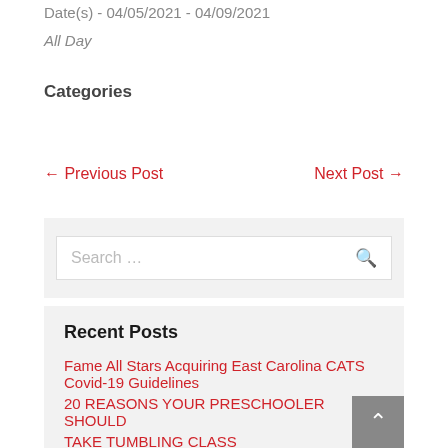Date(s) - 04/05/2021 - 04/09/2021
All Day
Categories
← Previous Post    Next Post →
Search …
Recent Posts
Fame All Stars Acquiring East Carolina CATS Covid-19 Guidelines
20 REASONS YOUR PRESCHOOLER SHOULD TAKE TUMBLING CLASS